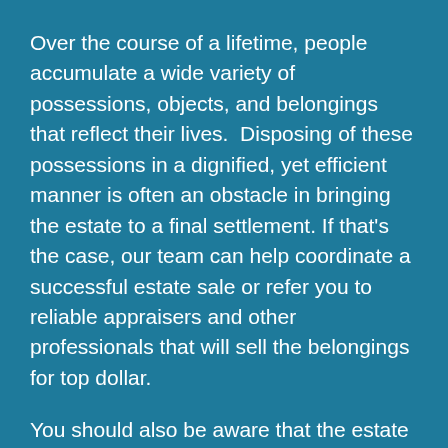Over the course of a lifetime, people accumulate a wide variety of possessions, objects, and belongings that reflect their lives.  Disposing of these possessions in a dignified, yet efficient manner is often an obstacle in bringing the estate to a final settlement. If that's the case, our team can help coordinate a successful estate sale or refer you to reliable appraisers and other professionals that will sell the belongings for top dollar.
You should also be aware that the estate can realize significant tax advantages by donating any unclaimed assets and possessions to charity, and we maintain strong personal relationships with numerous charities that would welcome these donations with open arms.